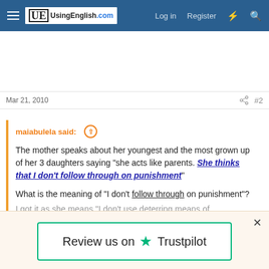UsingEnglish.com — Log in  Register
Mar 21, 2010  #2
maiabulela said: ↑

The mother speaks about her youngest and the most grown up of her 3 daughters saying "she acts like parents. She thinks that I don't follow through on punishment"

What is the meaning of "I don't follow through on punishment"?
I got it as she means "I don't use deterring means of punishment." Is that right? or what she means?

Click to expand...
[Figure (screenshot): Trustpilot review banner with green star and 'Review us on Trustpilot' text]